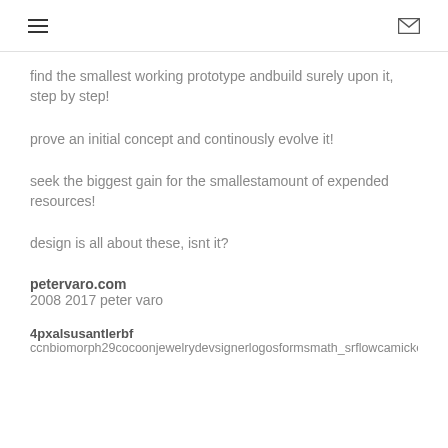☰  ✉
find the smallest working prototype andbuild surely upon it, step by step!
prove an initial concept and continously evolve it!
seek the biggest gain for the smallestamount of expended resources!
design is all about these, isnt it?
petervaro.com
2008 2017 peter varo
4pxalsusantlerbf
ccnbiomorph29cocoonjewelrydevsignerlogosformsmath_srflowcamickeyo